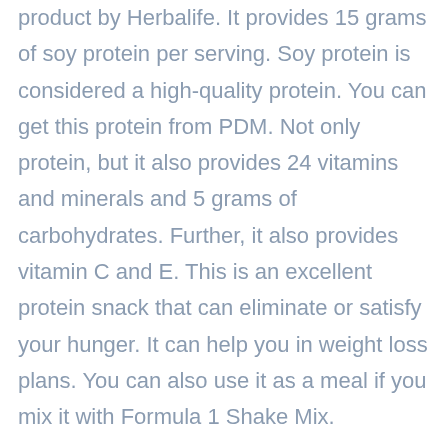Protein Drink Mix (PDM) is also an outstanding product by Herbalife. It provides 15 grams of soy protein per serving. Soy protein is considered a high-quality protein. You can get this protein from PDM. Not only protein, but it also provides 24 vitamins and minerals and 5 grams of carbohydrates. Further, it also provides vitamin C and E. This is an excellent protein snack that can eliminate or satisfy your hunger. It can help you in weight loss plans. You can also use it as a meal if you mix it with Formula 1 Shake Mix.
PDM is also good for completing the daily requirement of protein. If you want to take high-